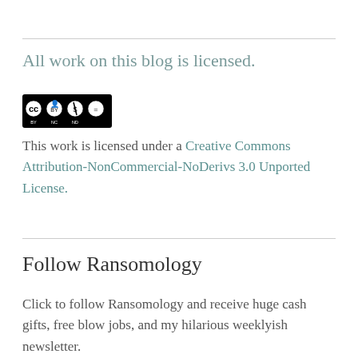All work on this blog is licensed.
[Figure (logo): Creative Commons BY-NC-ND license badge with four circular icons]
This work is licensed under a Creative Commons Attribution-NonCommercial-NoDerivs 3.0 Unported License.
Follow Ransomology
Click to follow Ransomology and receive huge cash gifts, free blow jobs, and my hilarious weeklyish newsletter.